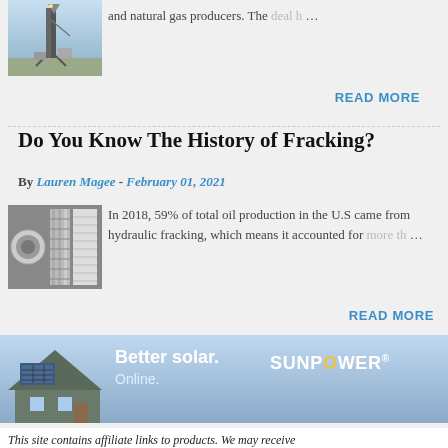[Figure (photo): Photo of an oil drilling rig against a sky background]
and natural gas producers. The deal … ...
READ MORE
Do You Know The History of Fracking?
By Lauren Magee - February 01, 2021
[Figure (photo): Black and white photograph showing fracking/drilling equipment cores or samples]
In 2018, 59% of total oil production in the U.S came from hydraulic fracking, which means it accounted for more th …
READ MORE
[Figure (photo): Advertisement banner showing a house with solar panels and the SunPower logo. Text: Better solar. Online. SUNPOWER]
This site contains affiliate links to products. We may receive